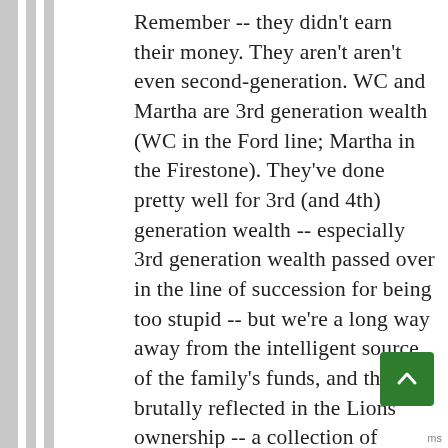Remember -- they didn't earn their money. They aren't aren't even second-generation. WC and Martha are 3rd generation wealth (WC in the Ford line; Martha in the Firestone). They've done pretty well for 3rd (and 4th) generation wealth -- especially 3rd generation wealth passed over in the line of succession for being too stupid -- but we're a long way away from the intelligent source of the family's funds, and this is brutally reflected in the Lions ownership -- a collection of comfortable yes-m who know to not make waves so long as the team isn't actively an embarrassing money pit.